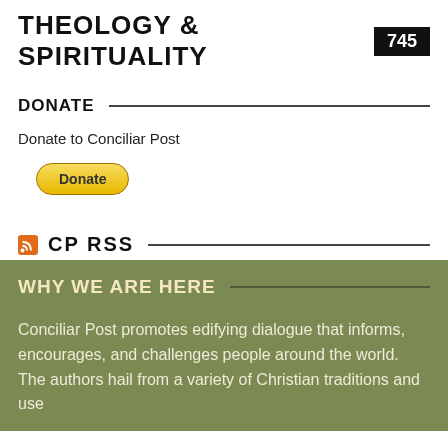THEOLOGY & SPIRITUALITY 745
DONATE
Donate to Conciliar Post
[Figure (other): PayPal Donate button]
CP RSS
WHY WE ARE HERE
Conciliar Post promotes edifying dialogue that informs, encourages, and challenges people around the world. The authors hail from a variety of Christian traditions and use